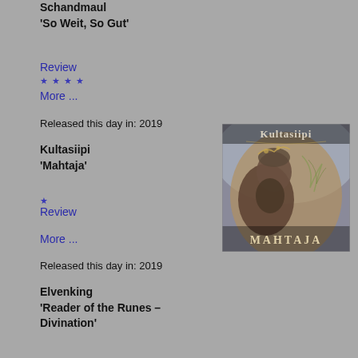Schandmaul
'So Weit, So Gut'
Review
More ...
Released this day in: 2019
Kultasiipi
'Mahtaja'
Review
More ...
[Figure (photo): Album cover for Kultasiipi 'Mahtaja' showing a bearded figure with text Kultasiipi and MAHTAJA]
Released this day in: 2019
Elvenking
'Reader of the Runes –
Divination'